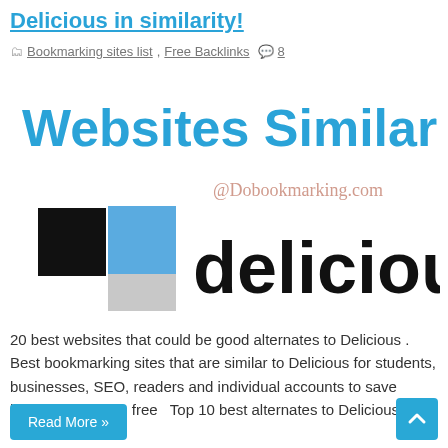Delicious in similarity!
Bookmarking sites list, Free Backlinks  8
[Figure (logo): Delicious logo — colored squares and the word 'delicious' with 'Websites Similar to' text above and '@Dobookmarking.com' watermark]
20 best websites that could be good alternates to Delicious . Best bookmarking sites that are similar to Delicious for students, businesses, SEO, readers and individual accounts to save bookmarks online free   Top 10 best alternates to Delicious :- Below …
Read More »